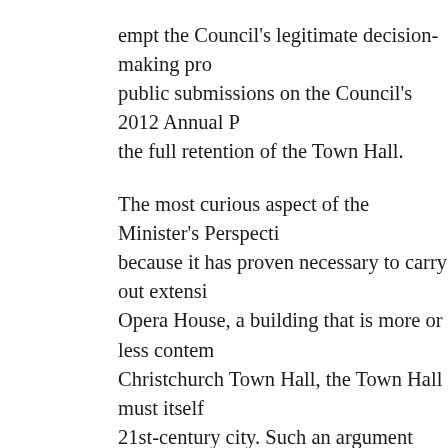empt the Council's legitimate decision-making pro public submissions on the Council's 2012 Annual P the full retention of the Town Hall. The most curious aspect of the Minister's Perspecti because it has proven necessary to carry out extensi Opera House, a building that is more or less contem Christchurch Town Hall, the Town Hall must itself 21st-century city. Such an argument rests on even n which the Minister alleges the Town Hall stands. It design of the Sydney Opera House was compromise complete. Conflict between the architect, Jorn Utzd Government over uncontrolled cost escalation resu and refusal to ever return to Australia. Political inte resulted in the spaces of the two main halls being sw squeezed into the space designed for the concert ha into the more generous space intended for opera. A theatre is too small to accommodate the full orchest